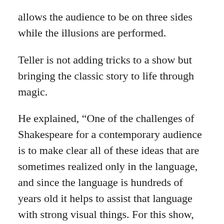allows the audience to be on three sides while the illusions are performed.
Teller is not adding tricks to a show but bringing the classic story to life through magic.
He explained, “One of the challenges of Shakespeare for a contemporary audience is to make clear all of these ideas that are sometimes realized only in the language, and since the language is hundreds of years old it helps to assist that language with strong visual things. For this show, which is about magic, supporting that with magic that is visual really helps to clarify what’s going on.”